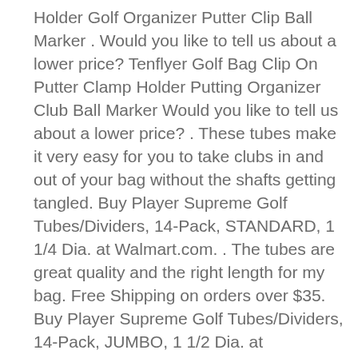Holder Golf Organizer Putter Clip Ball Marker . Would you like to tell us about a lower price? Tenflyer Golf Bag Clip On Putter Clamp Holder Putting Organizer Club Ball Marker Would you like to tell us about a lower price? . These tubes make it very easy for you to take clubs in and out of your bag without the shafts getting tangled. Buy Player Supreme Golf Tubes/Dividers, 14-Pack, STANDARD, 1 1/4 Dia. at Walmart.com. . The tubes are great quality and the right length for my bag. Free Shipping on orders over $35. Buy Player Supreme Golf Tubes/Dividers, 14-Pack, JUMBO, 1 1/2 Dia. at Walmart.com. Masters Golf Bag Tube available at American Golf Free UK delivery on . Purchase 3 for 2 on selected accessories and get the cheapest item free. top and forcing the tube tightly into the each separate slot in the bag, the tubes dont move. Shop for golf bag tubes online at Target. Free shipping & returns and save 5% every day with your Target REDcard. Bag tubes are designed to separate your clubs in your golf bag. . Masters Golf Putter